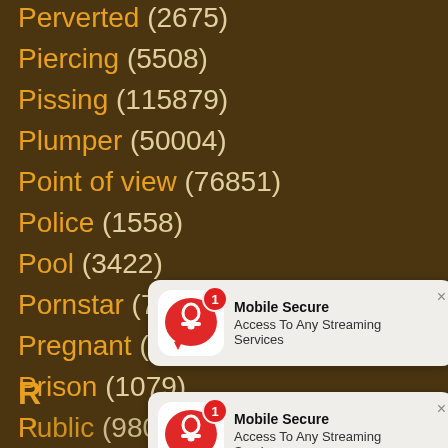Perverted (2675)
Piercing (5508)
Pissing (115879)
Plumper (50004)
Point of view (76851)
Police (1558)
Pool (3422)
Pornstar (79904)
Pregnant (3516)
Prison (1079)
Public (98022) [partially obscured]
[Figure (screenshot): Mobile Secure notification popup: 'Access To Any Streaming Services' with red bell icon and badge showing 1]
R
R... [partially obscured]
[Figure (screenshot): Mobile Secure notification popup: 'Access To Any Streaming Services' with red bell icon and badge showing 1]
Rimjob (8163)